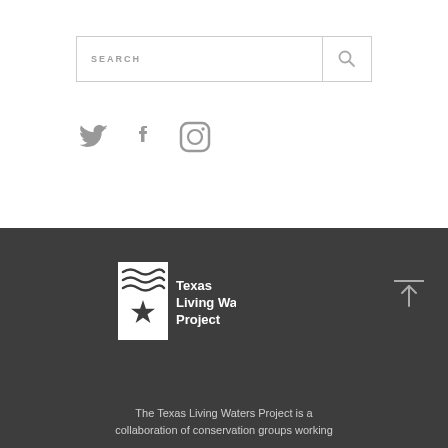[Figure (screenshot): Search bar with SEARCH placeholder text and magnifying glass icon button]
[Figure (infographic): Social media icons: Twitter bird, Facebook f, Instagram camera]
[Figure (logo): Texas Living Waters Project logo - white text with star and water wave graphic on dark background]
The Texas Living Waters Project is a collaboration of conservation groups working